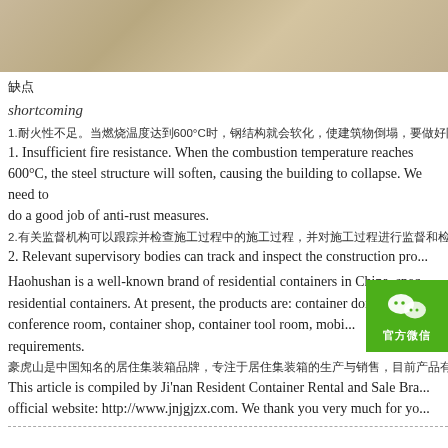[Figure (photo): Photograph of a sandy or dusty surface, light tan/beige tones, partial view at top of page]
缺点
shortcoming
1.耐火性不足。当燃烧温度达到600°C时，钢结构就会软化，使建筑物倒塌，要做好防锈措施。
1. Insufficient fire resistance. When the combustion temperature reaches 600°C, the steel structure will soften, causing the building to collapse. We need to do a good job of anti-rust measures.
2.有关监督机构可以跟踪并检查施工过程中的施工过程，并对施工过程进行监督和检查，对施工过程进行监督和检查。
2. Relevant supervisory bodies can track and inspect the construction pro...
Haohushan is a well-known brand of residential containers in China, specializing in the production and sales of residential containers. At present, the products are: container dormitory, container office, conference room, container shop, container tool room, mobile... requirements.
豪虎山是中国知名的居住集装箱品牌，专注于居住集装箱的生产与销售...http://www.j...
This article is compiled by Ji'nan Resident Container Rental and Sale Bra... official website: http://www.jnjgjzx.com. We thank you very much for yo...
[Figure (logo): WeChat official account badge, green background with WeChat icon and Chinese text 官方微信]